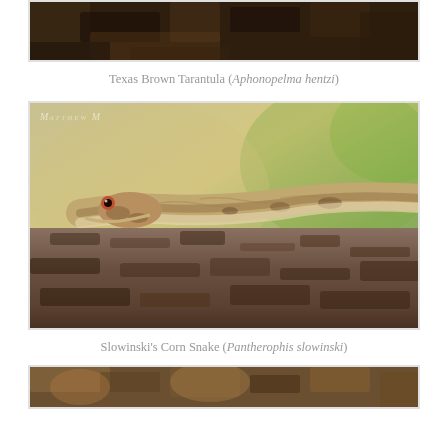[Figure (photo): Partial top photo showing dark tree bark texture, likely a Texas Brown Tarantula photo cropped at top]
Texas Brown Tarantula (Aphonopelma hentzi)
[Figure (photo): Close-up photo of Slowinski's Corn Snake (Pantherophis slowinski) resting on pine bark, with green and tan blurred background. Watermark with M logo visible in top left.]
Slowinski's Corn Snake (Pantherophis slowinski)
[Figure (photo): Partial bottom photo showing another animal on bark, cropped at bottom of page]